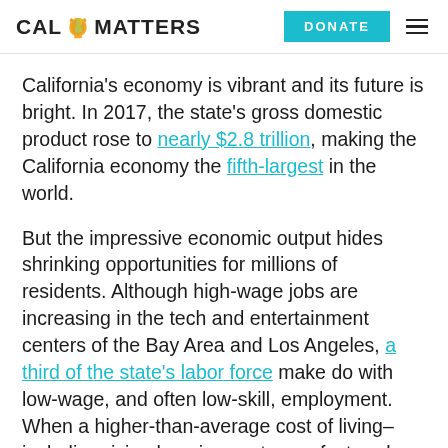CAL MATTERS | DONATE
California's economy is vibrant and its future is bright. In 2017, the state's gross domestic product rose to nearly $2.8 trillion, making the California economy the fifth-largest in the world.
But the impressive economic output hides shrinking opportunities for millions of residents. Although high-wage jobs are increasing in the tech and entertainment centers of the Bay Area and Los Angeles, a third of the state's labor force make do with low-wage, and often low-skill, employment. When a higher-than-average cost of living–including rising housing costs–are factored